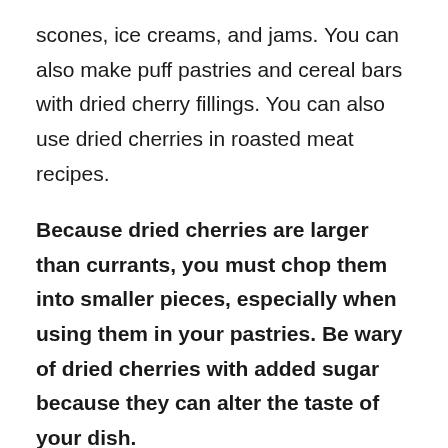scones, ice creams, and jams. You can also make puff pastries and cereal bars with dried cherry fillings. You can also use dried cherries in roasted meat recipes.
Because dried cherries are larger than currants, you must chop them into smaller pieces, especially when using them in your pastries. Be wary of dried cherries with added sugar because they can alter the taste of your dish.
2. Dried Blueberries